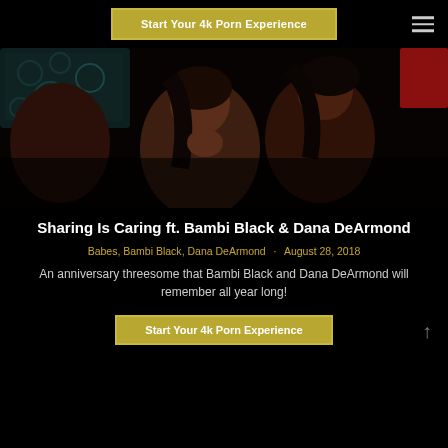Start Your 4k Porn Experience
[Figure (photo): Thumbnail image showing three women in a bedroom scene with dark lighting and teal patterned pillow in background]
Sharing Is Caring ft. Bambi Black & Dana DeArmond
Babes, Bambi Black, Dana DeArmond · August 28, 2018
An anniversary threesome that Bambi Black and Dana DeArmond will remember all year long!
Start Your 4k Porn Experience